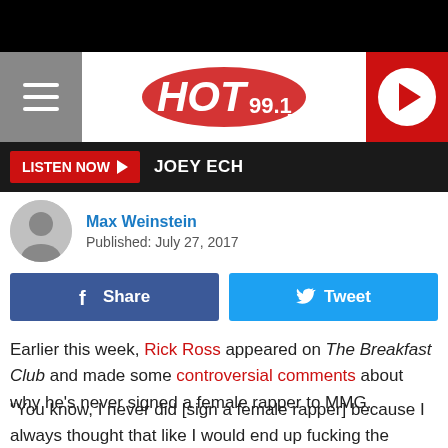[Figure (screenshot): Hot 99.1 FM radio station navigation bar with hamburger menu on left, Hot 99.1 FM logo in center, and red play button on right]
LISTEN NOW ► JOEY ECH
Max Weinstein
Published: July 27, 2017
f Share   Tweet
Earlier this week, Rick Ross appeared on The Breakfast Club and made some controversial comments about why he's never signed a female rapper to MMG.
"You know, I never did [sign a female rapper] because I always thought that like I would end up fucking the female rapper [and then] fucking the business up," Rozay said in the